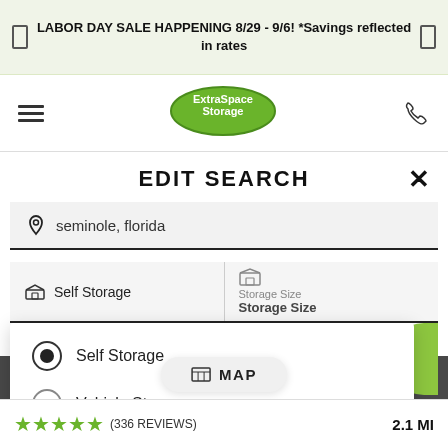LABOR DAY SALE HAPPENING 8/29 - 9/6! *Savings reflected in rates
[Figure (logo): Extra Space Storage logo — green oval badge with white text]
EDIT SEARCH
seminole, florida
Self Storage
Storage Size
Storage Size
Self Storage (selected)
Vehicle Storage
MAP
(336 REVIEWS)
2.1 MI